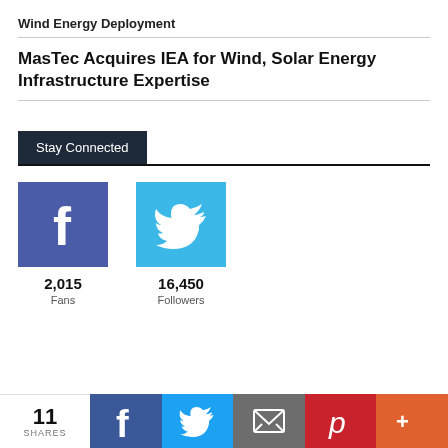Wind Energy Deployment
MasTec Acquires IEA for Wind, Solar Energy Infrastructure Expertise
Stay Connected
2,015 Fans
16,450 Followers
11 SHARES